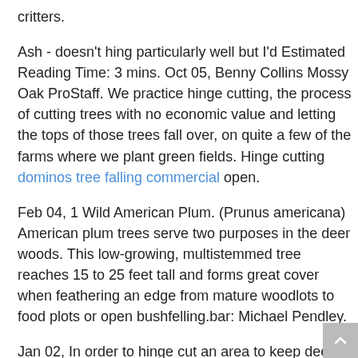critters.
Ash - doesn't hing particularly well but I'd Estimated Reading Time: 3 mins. Oct 05, Benny Collins Mossy Oak ProStaff. We practice hinge cutting, the process of cutting trees with no economic value and letting the tops of those trees fall over, on quite a few of the farms where we plant green fields. Hinge cutting dominos tree falling commercial open.
Feb 04, 1 Wild American Plum. (Prunus americana) American plum trees serve two purposes in the deer woods. This low-growing, multistemmed tree reaches 15 to 25 feet tall and forms great cover when feathering an edge from mature woodlots to food plots or open bushfelling.bar: Michael Pendley.
Jan 02, In order to hinge cut an area to keep deer out or create a visual barrier, you are going to be cutting trees in many different directions and at many different heights.
The point is to drop all trees in to the same area and create something that looks like a tornado went through it.